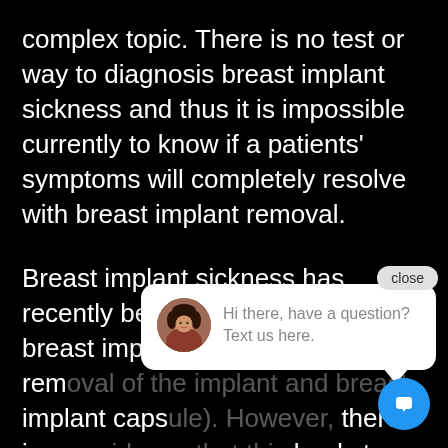complex topic. There is no test or way to diagnosis breast implant sickness and thus it is impossible currently to know if a patients' symptoms will completely resolve with breast implant removal.
Breast implant sickness has recently been treated with en-bloc breast implant removal (complete removal of the implant and breast implant capsule). However, there is no evidence that this leads to improved outcomes over implant removal alone. This is a topic that will need to be evaluated over time to make sure patients are being treated effectively and
[Figure (screenshot): Chat widget popup with avatar photo of a woman, text 'Hi there, have a question? Text us here.' with a close button and blue circular chat icon button.]